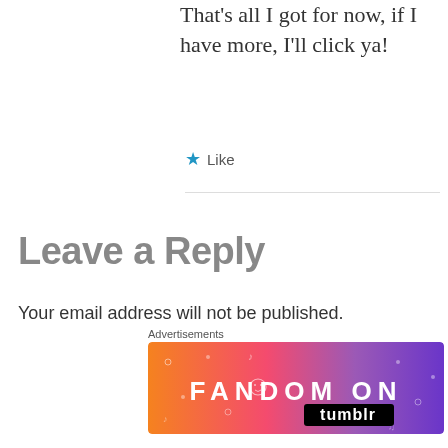That's all I got for now, if I have more, I'll click ya!
★ Like
Leave a Reply
Your email address will not be published. Required fields are marked *
COMMENT *
[Figure (screenshot): Fandom on Tumblr advertisement banner with colorful gradient background from orange to purple, with white illustrated doodles and bold text 'FANDOM ON tumblr']